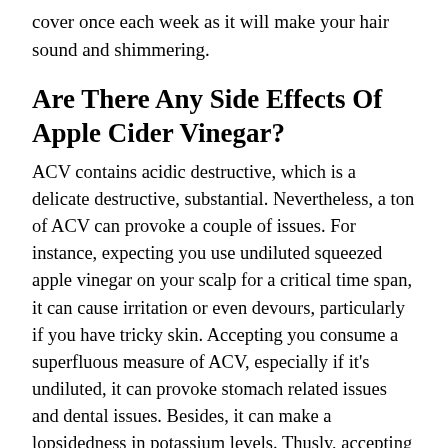cover once each week as it will make your hair sound and shimmering.
Are There Any Side Effects Of Apple Cider Vinegar?
ACV contains acidic destructive, which is a delicate destructive, substantial. Nevertheless, a ton of ACV can provoke a couple of issues. For instance, expecting you use undiluted squeezed apple vinegar on your scalp for a critical time span, it can cause irritation or even devours, particularly if you have tricky skin. Accepting you consume a superfluous measure of ACV, especially if it's undiluted, it can provoke stomach related issues and dental issues. Besides, it can make a lopsidedness in potassium levels. Thusly, accepting you are at this point dubious, counsel a trained professional and a hair ace before you choose squeezed apple vinegar.
The manufacturers of the components of ACV and the